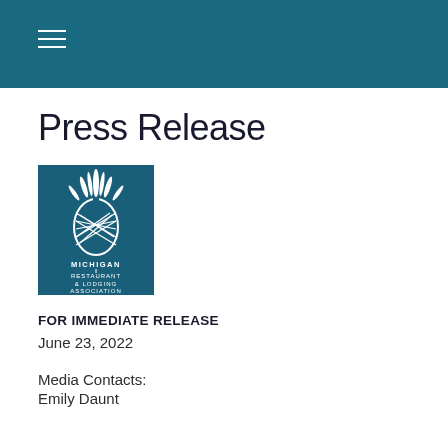Press Release
[Figure (logo): Michigan Restaurant & Lodging Association logo — white pineapple illustration on teal/dark blue background with text MICHIGAN RESTAURANT & LODGING ASSOCIATION]
FOR IMMEDIATE RELEASE
June 23, 2022
Media Contacts:
Emily Daunt